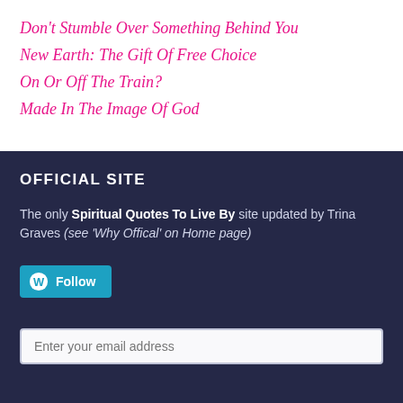Don't Stumble Over Something Behind You
New Earth: The Gift Of Free Choice
On Or Off The Train?
Made In The Image Of God
OFFICIAL SITE
The only Spiritual Quotes To Live By site updated by Trina Graves (see 'Why Offical' on Home page)
[Figure (logo): WordPress Follow button with blue background]
Enter your email address